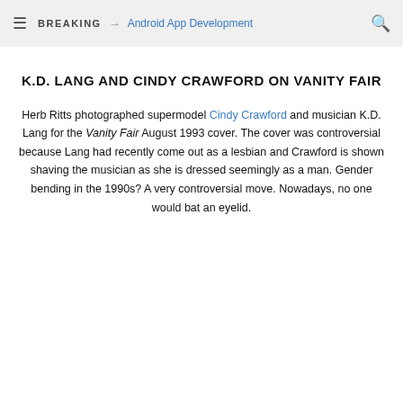≡ BREAKING → Android App Development 🔍
K.D. LANG AND CINDY CRAWFORD ON VANITY FAIR
Herb Ritts photographed supermodel Cindy Crawford and musician K.D. Lang for the Vanity Fair August 1993 cover. The cover was controversial because Lang had recently come out as a lesbian and Crawford is shown shaving the musician as she is dressed seemingly as a man. Gender bending in the 1990s? A very controversial move. Nowadays, no one would bat an eyelid.